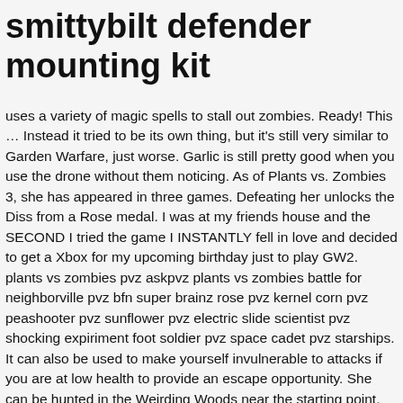smittybilt defender mounting kit
uses a variety of magic spells to stall out zombies. Ready! This … Instead it tried to be its own thing, but it's still very similar to Garden Warfare, just worse. Garlic is still pretty good when you use the drone without them noticing. As of Plants vs. Zombies 3, she has appeared in three games. Defeating her unlocks the Diss from a Rose medal. I was at my friends house and the SECOND I tried the game I INSTANTLY fell in love and decided to get a Xbox for my upcoming birthday just to play GW2. plants vs zombies pvz askpvz plants vs zombies battle for neighborville pvz bfn super brainz rose pvz kernel corn pvz peashooter pvz sunflower pvz electric slide scientist pvz shocking expiriment foot soldier pvz space cadet pvz starships. It can also be used to make yourself invulnerable to attacks if you are at low health to provide an escape opportunity. She can be hunted in the Weirding Woods near the starting point. Become invulnerable and cast speed aura, boosting team move speed. PvZ: BFN's Fall Festival is Here with Fresh Rewards to Leaf You Smiling Earn a cornucopia of prizes, unlock new characters, and learn about what's coming up in Neighborville. It couldn't be corn, So let me see corn. Range It doesn't seem like BFN has tried to